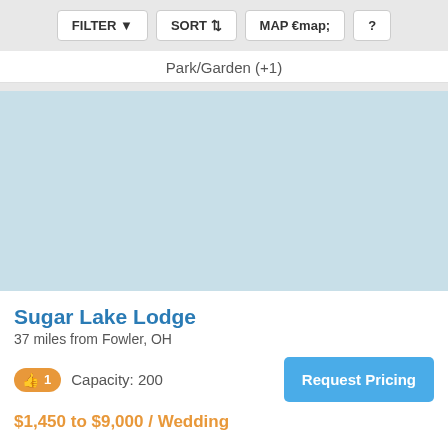FILTER  SORT  MAP  ?
Park/Garden (+1)
[Figure (photo): Light blue placeholder image for venue photo of Sugar Lake Lodge]
Sugar Lake Lodge
37 miles from Fowler, OH
1  Capacity: 200
Request Pricing
$1,450 to $9,000 / Wedding